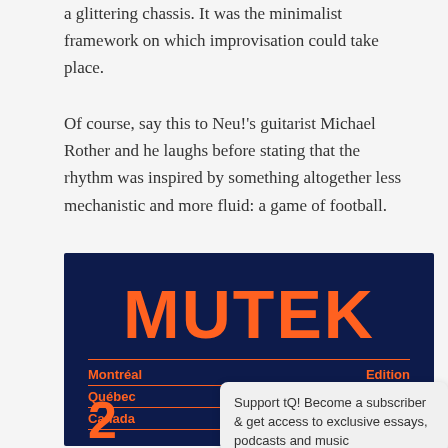a glittering chassis. It was the minimalist framework on which improvisation could take place.
Of course, say this to Neu!'s guitarist Michael Rother and he laughs before stating that the rhythm was inspired by something altogether less mechanistic and more fluid: a game of football.
[Figure (logo): MUTEK festival advertisement banner with dark navy background, orange MUTEK logo text, and details: Montréal / Québec / Canada, Edition 23, montreal.mutek.org]
Support tQ! Become a subscriber & get access to exclusive essays, podcasts and music